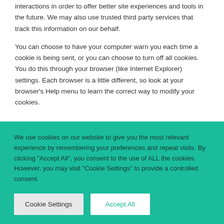interactions in order to offer better site experiences and tools in the future. We may also use trusted third party services that track this information on our behalf.
You can choose to have your computer warn you each time a cookie is being sent, or you can choose to turn off all cookies. You do this through your browser (like Internet Explorer) settings. Each browser is a little different, so look at your browser's Help menu to learn the correct way to modify your cookies.
We use cookies on our website to give you the most relevant experience by remembering your preferences and repeat visits. By clicking "Accept All", you consent to the use of ALL the cookies. However, you may visit "Cookie Settings" to provide a controlled consent.